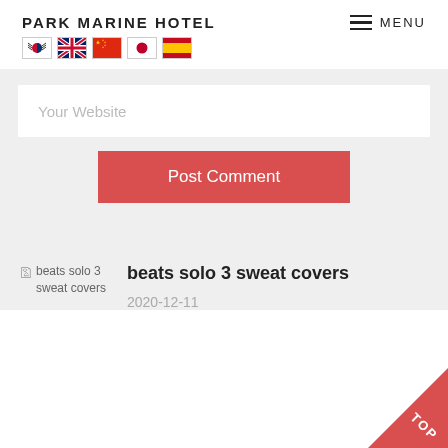PARK MARINE HOTEL
[Figure (screenshot): Navigation header with Park Marine Hotel logo, hamburger menu icon, MENU text, and five country flag icons (South Korea, UK, China, Japan, Spain)]
Your Website
Post Comment
[Figure (photo): Broken image thumbnail for beats solo 3 sweat covers]
beats solo 3 sweat covers
2020-12-11